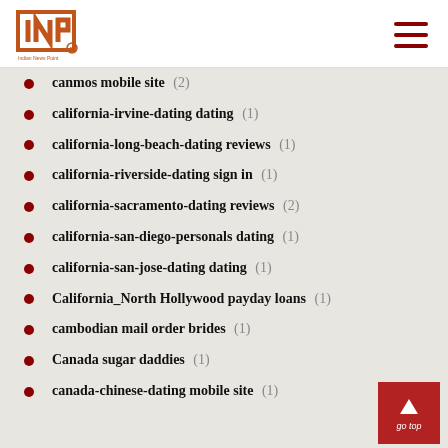INP logo and navigation
canmos mobile site (2)
california-irvine-dating dating (1)
california-long-beach-dating reviews (1)
california-riverside-dating sign in (1)
california-sacramento-dating reviews (2)
california-san-diego-personals dating (1)
california-san-jose-dating dating (1)
California_North Hollywood payday loans (1)
cambodian mail order brides (1)
Canada sugar daddies (1)
canada-chinese-dating mobile site (1)